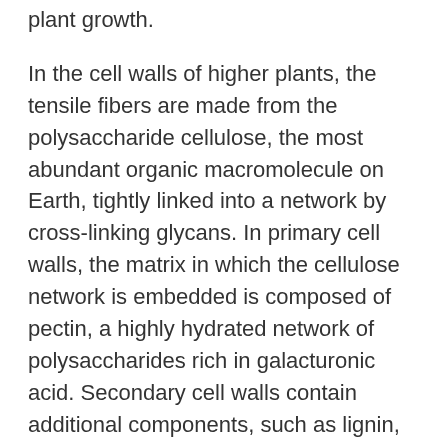plant growth.
In the cell walls of higher plants, the tensile fibers are made from the polysaccharide cellulose, the most abundant organic macromolecule on Earth, tightly linked into a network by cross-linking glycans. In primary cell walls, the matrix in which the cellulose network is embedded is composed of pectin, a highly hydrated network of polysaccharides rich in galacturonic acid. Secondary cell walls contain additional components, such as lignin, which is hard and occupies the interstices between the other components, making the walls rigid and permanent. All of these molecules are held together by a combination of covalent and noncovalent bonds to form a highly complex structure, whose composition, thickness and architecture depends on the cell type.
We focus here on the primary cell wall and the molecular architecture that underlies its remarkable